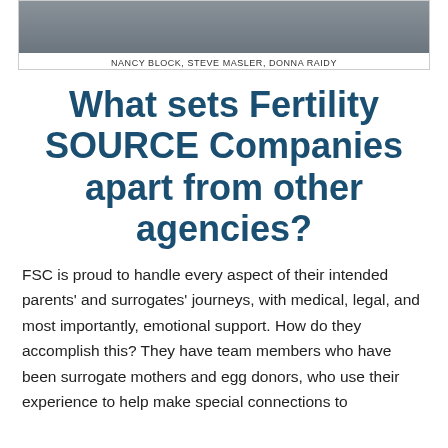[Figure (photo): Group photo of three people: Nancy Block, Steve Masler, Donna Raidy]
NANCY BLOCK, STEVE MASLER, DONNA RAIDY
What sets Fertility SOURCE Companies apart from other agencies?
FSC is proud to handle every aspect of their intended parents' and surrogates' journeys, with medical, legal, and most importantly, emotional support. How do they accomplish this? They have team members who have been surrogate mothers and egg donors, who use their experience to help make special connections to